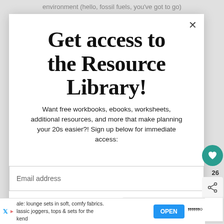environment (hello, fossil fuels, you've got to go)
Get access to the Resource Library!
Want free workbooks, ebooks, worksheets, additional resources, and more that make planning your 20s easier?! Sign up below for immediate access:
Email address
ale: lounge sets in soft, comfy fabrics. lassic joggers, tops & sets for the kend
OPEN
WHAT'S NEXT → Best Non-Toxic Tea...